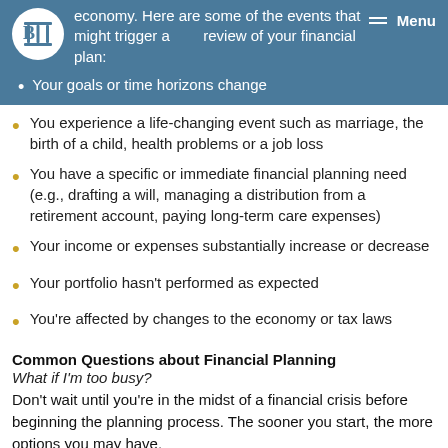economy. Here are some of the events that might trigger a review of your financial plan:
Your goals or time horizons change
You experience a life-changing event such as marriage, the birth of a child, health problems or a job loss
You have a specific or immediate financial planning need (e.g., drafting a will, managing a distribution from a retirement account, paying long-term care expenses)
Your income or expenses substantially increase or decrease
Your portfolio hasn't performed as expected
You're affected by changes to the economy or tax laws
Common Questions about Financial Planning
What if I'm too busy?
Don't wait until you're in the midst of a financial crisis before beginning the planning process. The sooner you start, the more options you may have.